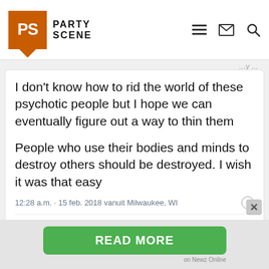PS PARTY SCENE
I don't know how to rid the world of these psychotic people but I hope we can eventually figure out a way to thin them
People who use their bodies and minds to destroy others should be destroyed. I wish it was that easy
12:28 a.m. · 15 feb. 2018 vanuit Milwaukee, WI
87  Antwoorden  Tweet-URL kopiëren
4 antwoorden lezen
READ MORE
on Newz Online